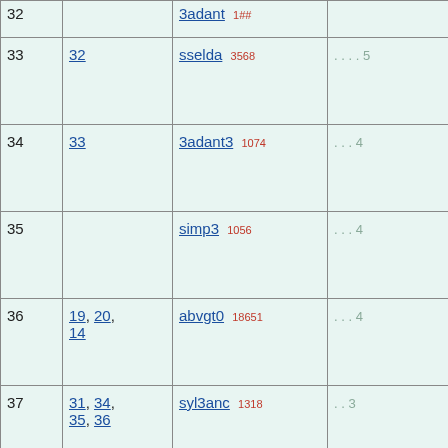| # | Parents | Name / ID | Dots |
| --- | --- | --- | --- |
| 33 | 32 | sselda 3568 | . . . . 5 |
| 34 | 33 | 3adant3 1074 | . . . 4 |
| 35 |  | simp3 1056 | . . . 4 |
| 36 | 19, 20, 14 | abvgt0 18651 | . . . 4 |
| 37 | 31, 34, 35, 36 | syl3anc 1318 | . . 3 |
| 38 |  | fvres 6117 | . . . 4 |
| 39 | 38 | 3ad2ant2 1076 | . . 3 |
| 40 |  |  | . 2 |